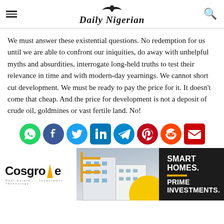Daily Nigerian
We must answer these existential questions. No redemption for us until we are able to confront our iniquities, do away with unhelpful myths and absurdities, interrogate long-held truths to test their relevance in time and with modern-day yearnings. We cannot short cut development. We must be ready to pay the price for it. It doesn't come that cheap. And the price for development is not a deposit of crude oil, goldmines or vast fertile land. No!
[Figure (infographic): Social media sharing icons row: WhatsApp, Facebook, Twitter, LinkedIn, Telegram, Pinterest, Reddit, Email]
[Figure (infographic): Advertisement banner for Cosgrove Real Estate showing logo, building photo, and text: SMART HOMES. PRIME INVESTMENTS.]